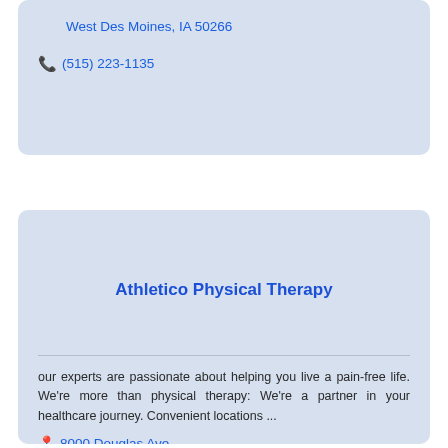West Des Moines, IA 50266
(515) 223-1135
Athletico Physical Therapy
our experts are passionate about helping you live a pain-free life. We're more than physical therapy: We're a partner in your healthcare journey. Convenient locations ...
8000 Douglas Ave., Urbandale, IA 50322-3223
(515) 251-3700